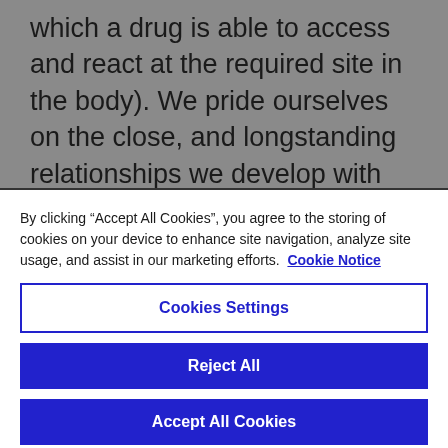which a drug is able to access and react at the required site in the body). We pride ourselves on the close, and longstanding relationships we develop with our customers, working alongside them from pre-clinical to commercial manufacture.
These same skills apply to our inorganic and organometallic products, where we work with customers to develop
By clicking “Accept All Cookies”, you agree to the storing of cookies on your device to enhance site navigation, analyze site usage, and assist in our marketing efforts. Cookie Notice
Cookies Settings
Reject All
Accept All Cookies